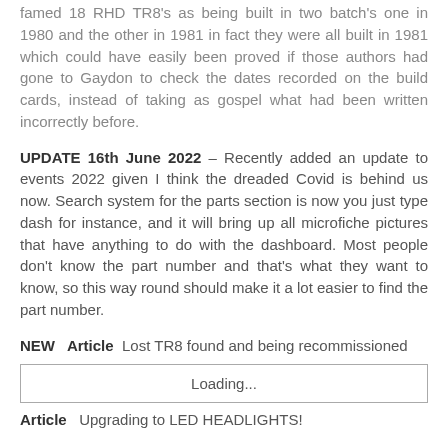famed 18 RHD TR8's as being built in two batch's one in 1980 and the other in 1981 in fact they were all built in 1981 which could have easily been proved if those authors had gone to Gaydon to check the dates recorded on the build cards, instead of taking as gospel what had been written incorrectly before.
UPDATE 16th June 2022 – Recently added an update to events 2022 given I think the dreaded Covid is behind us now. Search system for the parts section is now you just type dash for instance, and it will bring up all microfiche pictures that have anything to do with the dashboard. Most people don't know the part number and that's what they want to know, so this way round should make it a lot easier to find the part number.
NEW Article Lost TR8 found and being recommissioned
Loading...
Article   Upgrading to LED HEADLIGHTS!